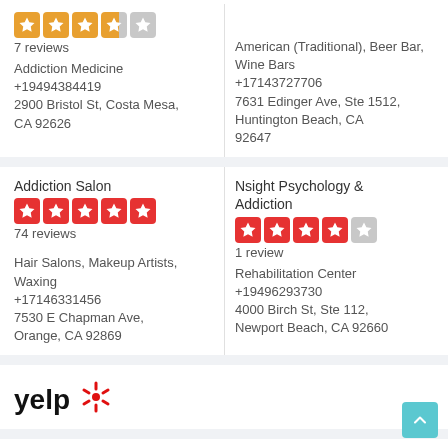[Figure (other): Star rating: 3.5 out of 5 stars (orange), 7 reviews]
7 reviews
Addiction Medicine
+19494384419
2900 Bristol St, Costa Mesa, CA 92626
American (Traditional), Beer Bar, Wine Bars
+17143727706
7631 Edinger Ave, Ste 1512, Huntington Beach, CA 92647
Addiction Salon
[Figure (other): Star rating: 5 out of 5 stars (red), 74 reviews]
74 reviews
Hair Salons, Makeup Artists, Waxing
+17146331456
7530 E Chapman Ave, Orange, CA 92869
Nsight Psychology & Addiction
[Figure (other): Star rating: 4 out of 5 stars (red), 1 review]
1 review
Rehabilitation Center
+19496293730
4000 Birch St, Ste 112, Newport Beach, CA 92660
[Figure (logo): Yelp logo]
List of Addiction Counseling